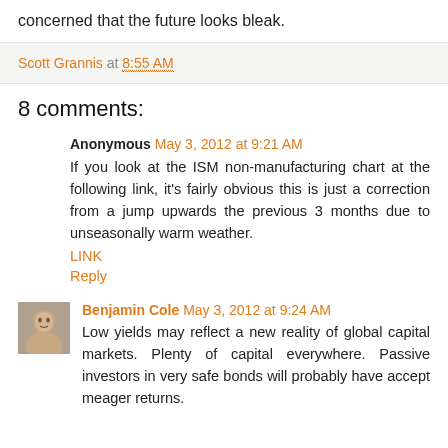concerned that the future looks bleak.
Scott Grannis at 8:55 AM
8 comments:
Anonymous May 3, 2012 at 9:21 AM
If you look at the ISM non-manufacturing chart at the following link, it's fairly obvious this is just a correction from a jump upwards the previous 3 months due to unseasonally warm weather.
LINK
Reply
Benjamin Cole May 3, 2012 at 9:24 AM
Low yields may reflect a new reality of global capital markets. Plenty of capital everywhere. Passive investors in very safe bonds will probably have accept meager returns.